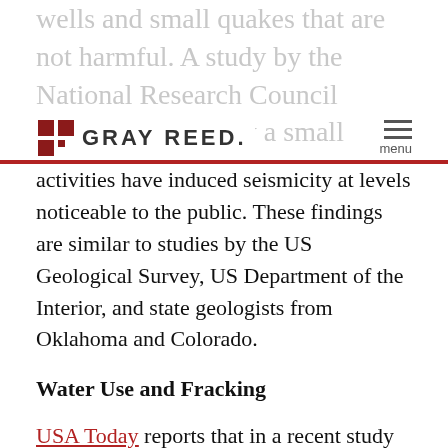wells and small quakes that are not harmful. A study by the National Research Council concluded that only a small fraction of injection and extraction
[Figure (logo): Gray Reed law firm logo with red square icon and gray text 'GRAY REED.' with hamburger menu icon and 'menu' label]
activities have induced seismicity at levels noticeable to the public. These findings are similar to studies by the US Geological Survey, US Department of the Interior, and state geologists from Oklahoma and Colorado.
Water Use and Fracking
USA Today reports that in a recent study Ceres says the overuse of freshwater in fracking operations is a terrible threat to water-starved regions of the United States. Fifty-five percent of wells requiring hydraulic fracturing are in drought-stricken areas and half are in regions under “high or extremely high water